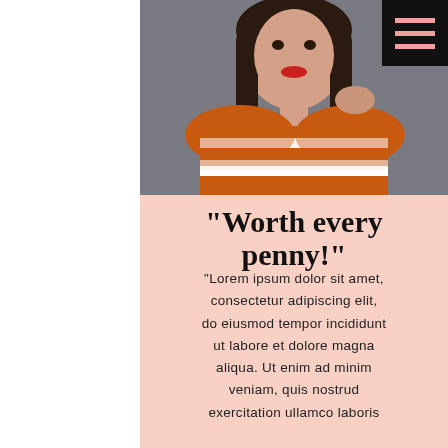[Figure (photo): A young woman with long dark hair wearing an orange and white striped top, posing against a grey background. Photo occupies the upper right portion of the page.]
"Worth every penny!"
"Lorem ipsum dolor sit amet, consectetur adipiscing elit, do eiusmod tempor incididunt ut labore et dolore magna aliqua. Ut enim ad minim veniam, quis nostrud exercitation ullamco laboris